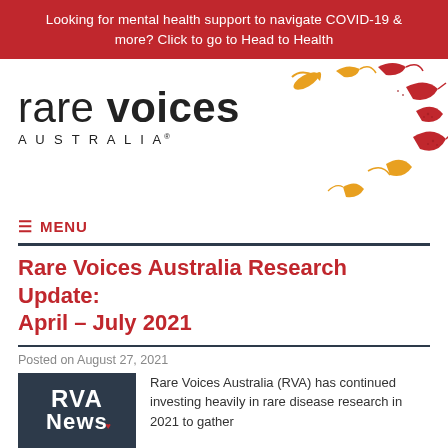Looking for mental health support to navigate COVID-19 & more? Click to go to Head to Health
[Figure (logo): Rare Voices Australia logo with birds illustration in red and gold tones]
≡ MENU
Rare Voices Australia Research Update: April – July 2021
Posted on August 27, 2021
Rare Voices Australia (RVA) has continued investing heavily in rare disease research in 2021 to gather